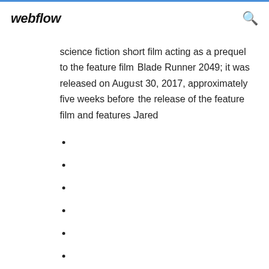webflow
science fiction short film acting as a prequel to the feature film Blade Runner 2049; it was released on August 30, 2017, approximately five weeks before the release of the feature film and features Jared
623